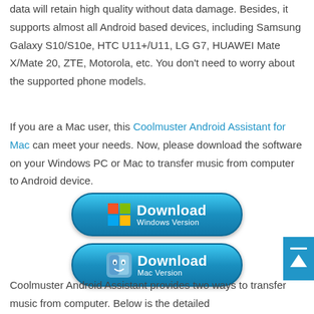data will retain high quality without data damage. Besides, it supports almost all Android based devices, including Samsung Galaxy S10/S10e, HTC U11+/U11, LG G7, HUAWEI Mate X/Mate 20, ZTE, Motorola, etc. You don't need to worry about the supported phone models.
If you are a Mac user, this Coolmuster Android Assistant for Mac can meet your needs. Now, please download the software on your Windows PC or Mac to transfer music from computer to Android device.
[Figure (other): Download Windows Version button - blue pill-shaped button with Windows logo and text 'Download Windows Version']
[Figure (other): Download Mac Version button - blue pill-shaped button with Mac Finder icon and text 'Download Mac Version']
Coolmuster Android Assistant provides two ways to transfer music from computer. Below is the detailed